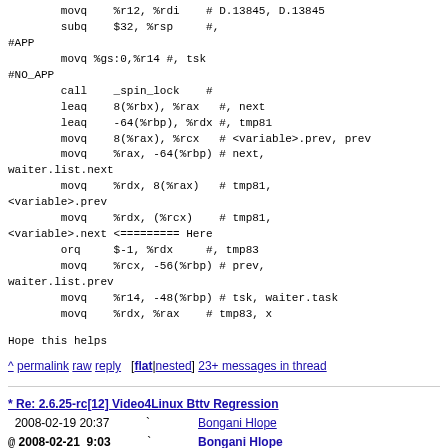movq %r12, %rdi # D.13845, D.13845
        subq $32, %rsp #,
#APP
        movq %gs:0,%r14 #, tsk
#NO_APP
        call _spin_lock #
        leaq 8(%rbx), %rax #, next
        leaq -64(%rbp), %rdx #, tmp81
        movq 8(%rax), %rcx # <variable>.prev, prev
        movq %rax, -64(%rbp) # next,
waiter.list.next
        movq %rdx, 8(%rax) # tmp81,
<variable>.prev
        movq %rdx, (%rcx) # tmp81,
<variable>.next <========= Here
        orq $-1, %rdx #, tmp83
        movq %rcx, -56(%rbp) # prev,
waiter.list.prev
        movq %r14, -48(%rbp) # tsk, waiter.task
        movq %rdx, %rax # tmp83, x
Hope this helps
^ permalink raw reply [flat|nested] 23+ messages in thread
* Re: 2.6.25-rc[12] Video4Linux Bttv Regression
  2008-02-19 20:37           ` Bongani Hlope
@ 2008-02-21  9:03           ` Bongani Hlope